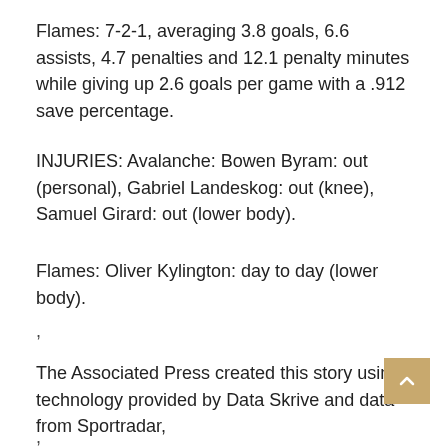Flames: 7-2-1, averaging 3.8 goals, 6.6 assists, 4.7 penalties and 12.1 penalty minutes while giving up 2.6 goals per game with a .912 save percentage.
INJURIES: Avalanche: Bowen Byram: out (personal), Gabriel Landeskog: out (knee), Samuel Girard: out (lower body).
Flames: Oliver Kylington: day to day (lower body).
,
The Associated Press created this story using technology provided by Data Skrive and data from Sportradar,
,